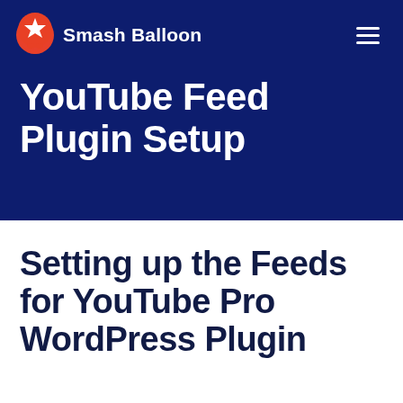Smash Balloon
YouTube Feed Plugin Setup
Setting up the Feeds for YouTube Pro WordPress Plugin